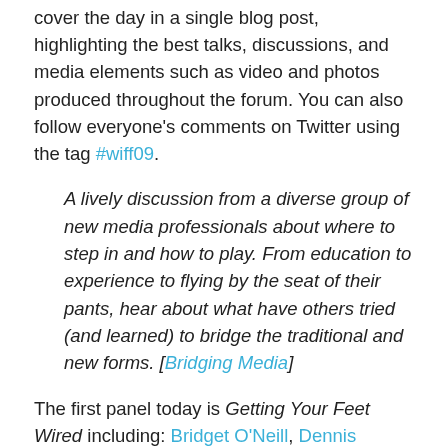cover the day in a single blog post, highlighting the best talks, discussions, and media elements such as video and photos produced throughout the forum. You can also follow everyone's comments on Twitter using the tag #wiff09.
A lively discussion from a diverse group of new media professionals about where to step in and how to play. From education to experience to flying by the seat of their pants, hear about what have others tried (and learned) to bridge the traditional and new forms. [Bridging Media]
The first panel today is Getting Your Feet Wired including: Bridget O'Neill, Dennis Chenard, Catherine Warren, Danielella Sorrentino, with moderator Danika Dinsmore
The focus is on new media forms and crossing them over from traditional film and production but also on the role of women… you can be an expert, you don't need to be